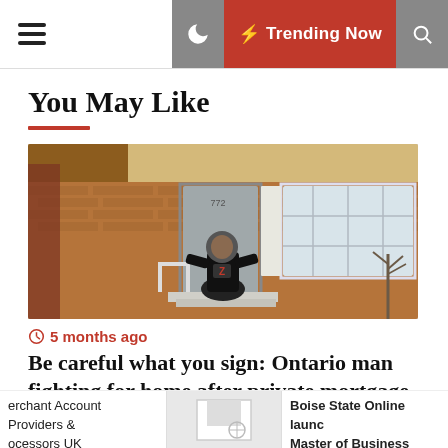Trending Now
You May Like
[Figure (photo): A man in a hoodie standing in front of a brick house with a bay window, on the front steps.]
5 months ago
Be careful what you sign: Ontario man fighting for home after private mortgage gone wrong
erchant Account Providers & ocessors UK
Boise State Online launc Master of Business Admi